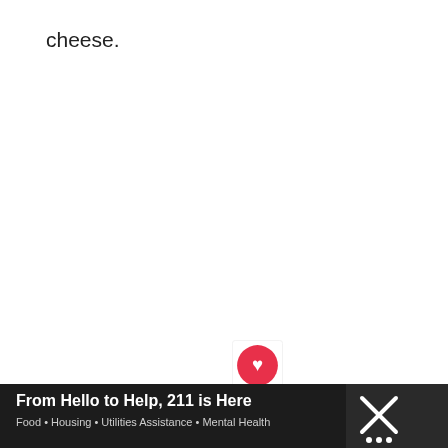cheese.
[Figure (screenshot): Advertisement for Grocery Worker's Appreciation Fund featuring an older woman grocery worker with arms crossed, smiling. Blue overlay text reads GROCERY WORKER'S APPRECIATION FUND. Logos for Kendall-Jackson and United Way appear at the bottom.]
[Figure (infographic): Sidebar with heart/like button showing 493 likes and a share button]
[Figure (infographic): What's Next section showing a food photo with text: Best Spiced Keto Carrot...]
[Figure (infographic): Bottom advertisement banner: From Hello to Help, 211 is Here. Food • Housing • Utilities Assistance • Mental Health]